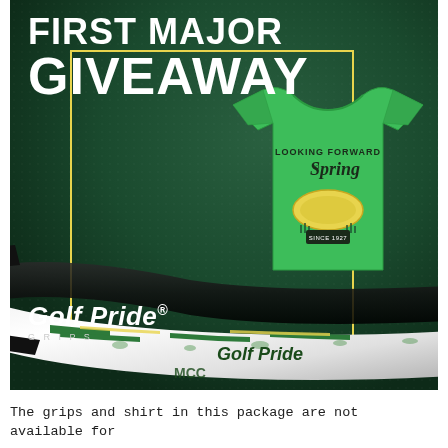[Figure (photo): Promotional image for 'First Major Giveaway' by Golf Pride Grips. Dark green background with yellow border rectangle. Shows a green t-shirt with 'Looking Forward to Spring' text and a golf course illustration, plus Golf Pride MCC golf grips in white and green. Golf Pride Grips logo in bottom left of image.]
FIRST MAJOR GIVEAWAY
The grips and shirt in this package are not available for